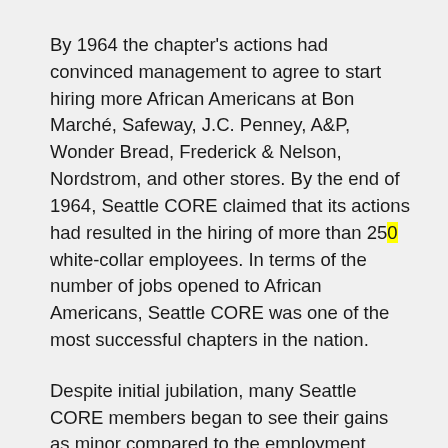By 1964 the chapter's actions had convinced management to agree to start hiring more African Americans at Bon Marché, Safeway, J.C. Penney, A&P, Wonder Bread, Frederick & Nelson, Nordstrom, and other stores. By the end of 1964, Seattle CORE claimed that its actions had resulted in the hiring of more than 250 white-collar employees. In terms of the number of jobs opened to African Americans, Seattle CORE was one of the most successful chapters in the nation.
Despite initial jubilation, many Seattle CORE members began to see their gains as minor compared to the employment discrimination that still existed. Thus the chapter began Operation DEEDS (Drive for Equal Employment in Downtown Stores), one of the most ambitious programs ever undertaken by a CORE chapter. DEEDS was a boycott of the entire downtown shopping area in October 1964, with...